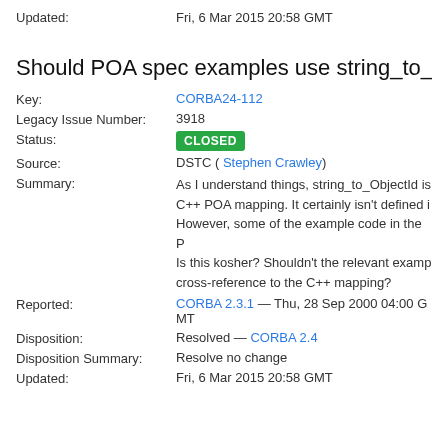Updated:    Fri, 6 Mar 2015 20:58 GMT
Should POA spec examples use string_to_Objec
Key: CORBA24-112
Legacy Issue Number: 3918
Status: CLOSED
Source: DSTC ( Stephen Crawley)
Summary: As I understand things, string_to_ObjectId is C++ POA mapping. It certainly isn't defined i However, some of the example code in the P Is this kosher? Shouldn't the relevant examp cross-reference to the C++ mapping?
Reported: CORBA 2.3.1 — Thu, 28 Sep 2000 04:00 GMT
Disposition: Resolved — CORBA 2.4
Disposition Summary: Resolve no change
Updated: Fri, 6 Mar 2015 20:58 GMT